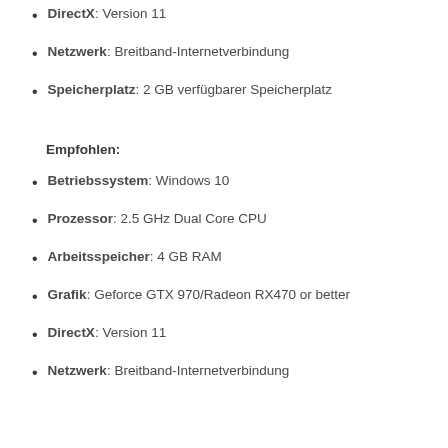DirectX: Version 11
Netzwerk: Breitband-Internetverbindung
Speicherplatz: 2 GB verfügbarer Speicherplatz
Empfohlen:
Betriebssystem: Windows 10
Prozessor: 2.5 GHz Dual Core CPU
Arbeitsspeicher: 4 GB RAM
Grafik: Geforce GTX 970/Radeon RX470 or better
DirectX: Version 11
Netzwerk: Breitband-Internetverbindung